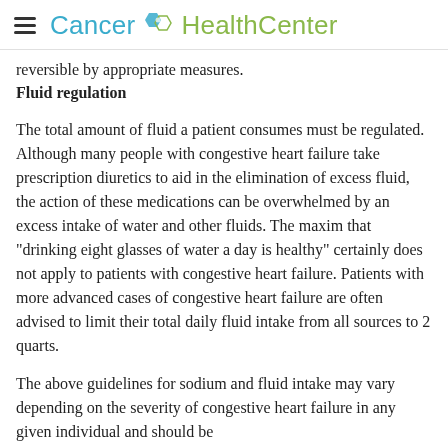Cancer HealthCenter
reversible by appropriate measures.
Fluid regulation
The total amount of fluid a patient consumes must be regulated. Although many people with congestive heart failure take prescription diuretics to aid in the elimination of excess fluid, the action of these medications can be overwhelmed by an excess intake of water and other fluids. The maxim that "drinking eight glasses of water a day is healthy" certainly does not apply to patients with congestive heart failure. Patients with more advanced cases of congestive heart failure are often advised to limit their total daily fluid intake from all sources to 2 quarts.
The above guidelines for sodium and fluid intake may vary depending on the severity of congestive heart failure in any given individual and should be